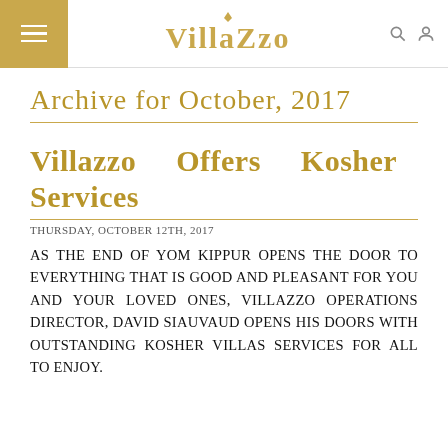VillaZzo
Archive for October, 2017
Villazzo Offers Kosher Services
Thursday, October 12th, 2017
As the end of Yom Kippur opens the door to everything that is good and pleasant for you and your loved ones, Villazzo Operations Director, David Siauvaud opens his doors with outstanding Kosher Villas services for all to enjoy.